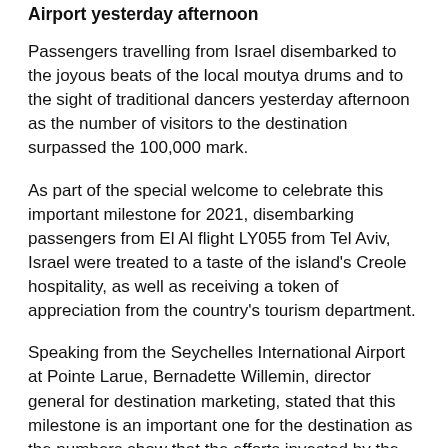Airport yesterday afternoon
Passengers travelling from Israel disembarked to the joyous beats of the local moutya drums and to the sight of traditional dancers yesterday afternoon as the number of visitors to the destination surpassed the 100,000 mark.
As part of the special welcome to celebrate this important milestone for 2021, disembarking passengers from El Al flight LY055 from Tel Aviv, Israel were treated to a taste of the island's Creole hospitality, as well as receiving a token of appreciation from the country's tourism department.
Speaking from the Seychelles International Airport at Pointe Larue, Bernadette Willemin, director general for destination marketing, stated that this milestone is an important one for the destination as the numbers show that the efforts invested by the government and the partners are bearing fruits.